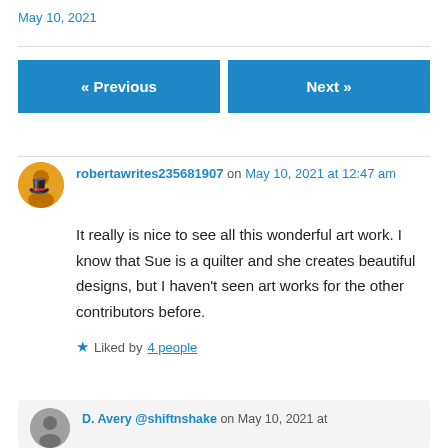May 10, 2021
« Previous   Next »
robertawrites235681907 on May 10, 2021 at 12:47 am
It really is nice to see all this wonderful art work. I know that Sue is a quilter and she creates beautiful designs, but I haven't seen art works for the other contributors before.
Liked by 4 people
D. Avery @shiftnshake on May 10, 2021 at